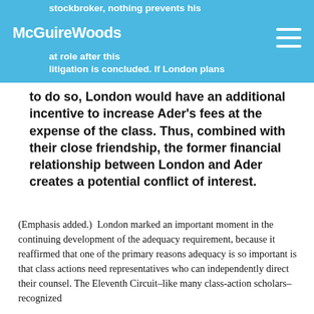stockbroker, nothing prevents his [McGuireWoods logo] [hamburger menu] [at role after this litigation is concluded. If London plans
to do so, London would have an additional incentive to increase Ader's fees at the expense of the class. Thus, combined with their close friendship, the former financial relationship between London and Ader creates a potential conflict of interest.
(Emphasis added.)  London marked an important moment in the continuing development of the adequacy requirement, because it reaffirmed that one of the primary reasons adequacy is so important is that class actions need representatives who can independently direct their counsel. The Eleventh Circuit–like many class-action scholars–recognized